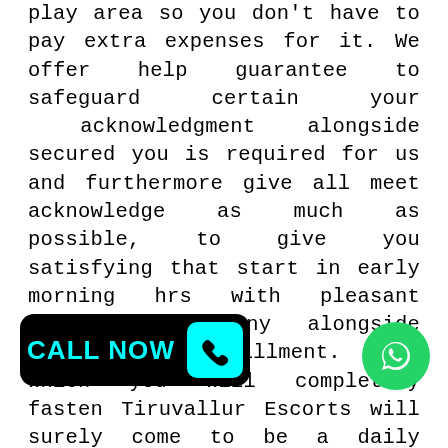play area so you don't have to pay extra expenses for it. We offer help guarantee to safeguard certain your acknowledgment alongside secured you is required for us and furthermore give all meet acknowledge as much as possible, to give you satisfying that start in early morning hrs with pleasant experience, harmony alongside mental fulfillment. Time which you will completely fasten Tiruvallur Escorts will surely come to be a daily existence time memory. Tiruvallur is where a determination of many individuals from around the world would mean to have such sort of engaging arrangement lively fixings alongside it is the perspective a few people would totally accept ahead to the city of Tiruvallur. There are a couple of the admirable sentiments that menaces would have when it stresses but major focuses why they mean to draw in with the Tiruvallur buddy organization
[Figure (other): CALL NOW button with phone icon on black background with cyan text and icon]
[Figure (other): WhatsApp icon green circle button]